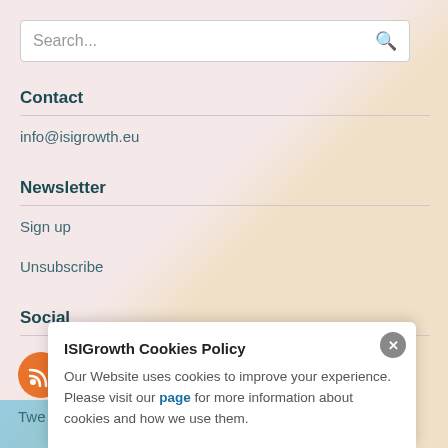Search...
Contact
info@isigrowth.eu
Newsletter
Sign up
Unsubscribe
Social
Twe
ISIGrowth Cookies Policy
Our Website uses cookies to improve your experience. Please visit our page for more information about cookies and how we use them.